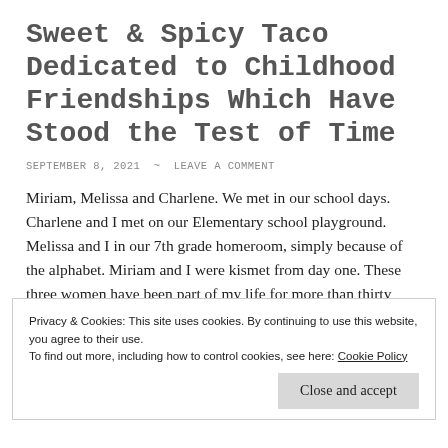Sweet & Spicy Taco Dedicated to Childhood Friendships Which Have Stood the Test of Time
SEPTEMBER 8, 2021  ~  LEAVE A COMMENT
Miriam, Melissa and Charlene. We met in our school days. Charlene and I met on our Elementary school playground. Melissa and I in our 7th grade homeroom, simply because of the alphabet. Miriam and I were kismet from day one. These three women have been part of my life for more than thirty years. I
Privacy & Cookies: This site uses cookies. By continuing to use this website, you agree to their use.
To find out more, including how to control cookies, see here: Cookie Policy
Close and accept